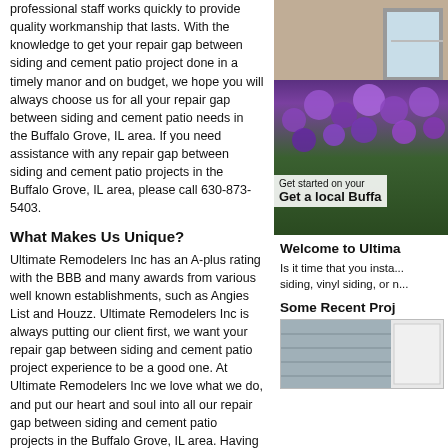professional staff works quickly to provide quality workmanship that lasts. With the knowledge to get your repair gap between siding and cement patio project done in a timely manor and on budget, we hope you will always choose us for all your repair gap between siding and cement patio needs in the Buffalo Grove, IL area. If you need assistance with any repair gap between siding and cement patio projects in the Buffalo Grove, IL area, please call 630-873-5403.
What Makes Us Unique?
Ultimate Remodelers Inc has an A-plus rating with the BBB and many awards from various well known establishments, such as Angies List and Houzz. Ultimate Remodelers Inc is always putting our client first, we want your repair gap between siding and cement patio project experience to be a good one. At Ultimate Remodelers Inc we love what we do, and put our heart and soul into all our repair gap between siding and cement patio projects in the Buffalo Grove, IL area. Having our customers recommened us is the highest honor we can think of for any of our repair gap between siding and cement patio services. If you need assistance with any repair gap between siding and cement patio projects in the Buffalo Grove, IL area, please call Ultimate Remodelers Inc at 630-873-5403 today.
[Figure (photo): Photo of a house exterior with purple flowering shrubs and a house wall with window. Overlay text reads 'Get started on your' and 'Get a local Buffa...']
Welcome to Ultima...
Is it time that you insta... siding, vinyl siding, or n...
Some Recent Proj...
[Figure (photo): Photo of house siding installation, showing gray/beige siding panels and a white door frame.]